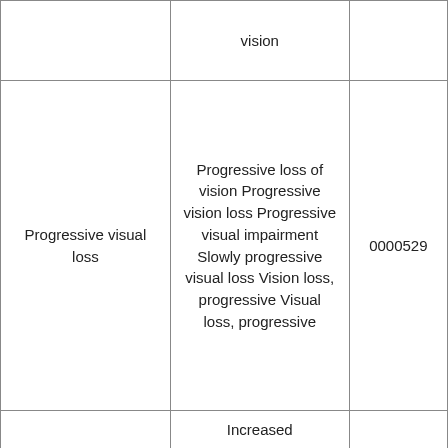|  | vision |  |
| Progressive visual loss | Progressive loss of vision
Progressive vision loss
Progressive visual impairment
Slowly progressive visual loss
Vision loss, progressive
Visual loss, progressive | 0000529 |
|  | Increased |  |